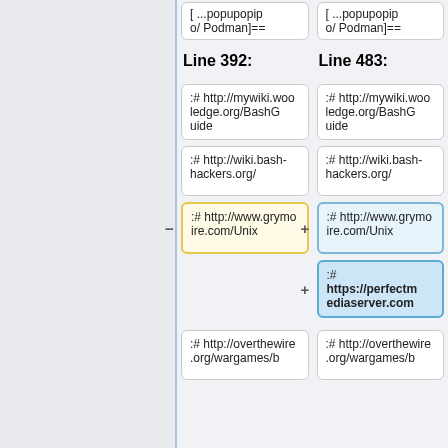[ ...popupopip
o/ Podman]==
[ ...popupopip
o/ Podman]==
Line 392:
Line 483:
:# http://mywiki.wooledge.org/BashGuide
:# http://mywiki.wooledge.org/BashGuide
:# http://wiki.bash-hackers.org/
:# http://wiki.bash-hackers.org/
:# http://www.grymoire.com/Unix
:# http://www.grymoire.com/Unix
:# https://perfectmediaserver.com
:# http://overthewire.org/wargames/b
:# http://overthewire.org/wargames/b